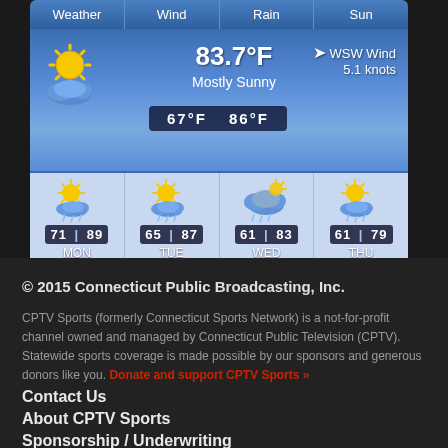[Figure (screenshot): Weather widget showing current conditions: 83.7°F Mostly Sunny, WSW Wind 5.1 knots, high/low 86°F/67°F, with 4-day forecast (MON 71/89, TUE 65/87, WED 61/83, THU 61/79), timestamp 2:26 PM Sun Aug 2, WillyWeather branding]
© 2015 Connecticut Public Broadcasting, Inc.
CPTV Sports (formerly Connecticut Sports Network) is a not-for-profit channel owned and managed by Connecticut Public Television (CPTV). Statewide sports coverage is made possible by our sponsors and generous donors like you. Donate and support CPTV Sports »
Contact Us
About CPTV Sports
Sponsorship / Underwriting